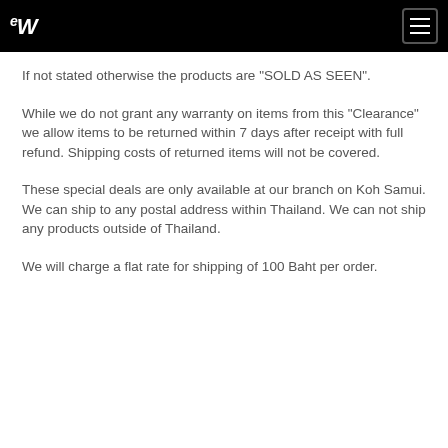eW [logo] [hamburger menu]
If not stated otherwise the products are "SOLD AS SEEN".
While we do not grant any warranty on items from this "Clearance" we allow items to be returned within 7 days after receipt with full refund. Shipping costs of returned items will not be covered.
These special deals are only available at our branch on Koh Samui. We can ship to any postal address within Thailand. We can not ship any products outside of Thailand.
We will charge a flat rate for shipping of 100 Baht per order.